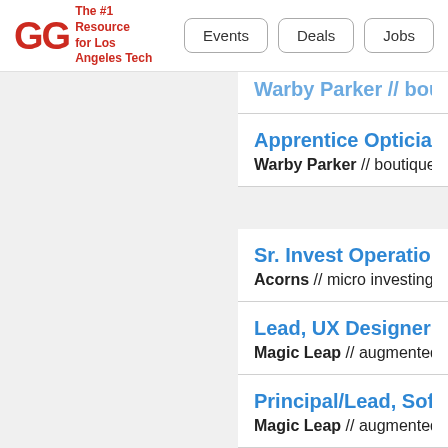GG The #1 Resource for Los Angeles Tech | Events | Deals | Jobs
Warby Parker // boutique-qu... (partial, cut off)
Apprentice Optician, Pa... — Warby Parker // boutique-qu...
Sr. Invest Operations A... — Acorns // micro investing app...
Lead, UX Designer — Magic Leap // augmented rea...
Principal/Lead, Softwar... — Magic Leap // augmented rea...